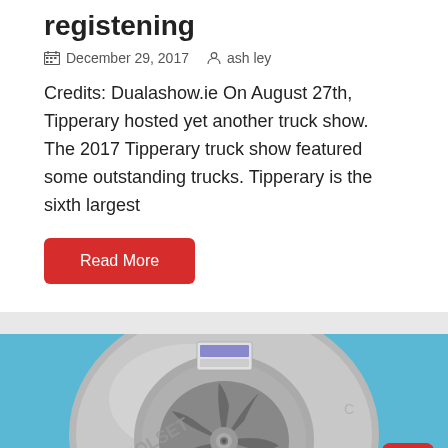registening
December 29, 2017   ash ley
Credits: Dualashow.ie On August 27th, Tipperary hosted yet another truck show. The 2017 Tipperary truck show featured some outstanding trucks. Tipperary is the sixth largest
Read More
[Figure (photo): A Holset turbocharger photographed from above against a blue background, showing the turbine wheel and housing. A small label sticker is visible on top. A red scroll-to-top button with an upward arrow is overlaid in the bottom right corner.]